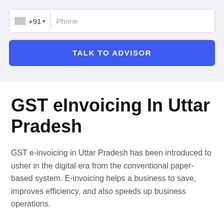[Figure (screenshot): Phone input field with +91 country code and Phone placeholder text]
TALK TO ADVISOR
GST eInvoicing In Uttar Pradesh
GST e-invoicing in Uttar Pradesh has been introduced to usher in the digital era from the conventional paper-based system. E-invoicing helps a business to save, improves efficiency, and also speeds up business operations.